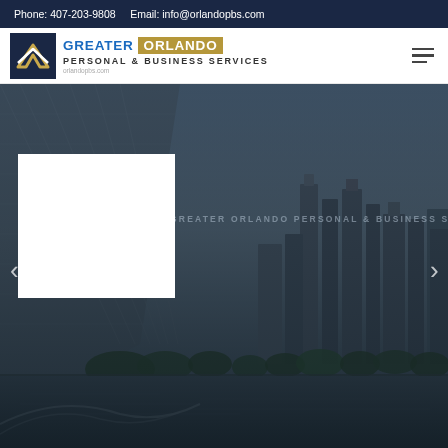Phone: 407-203-9808    Email: info@orlandopbs.com
[Figure (logo): Greater Orlando Personal & Business Services logo with chevron/arrow icon]
[Figure (photo): Hero banner showing a city skyline with modern skyscrapers, water reflection, and an architectural structure in the foreground, with a dark overlay. Text overlay reads: GREATER ORLANDO PERSONAL & BUSINESS SERV. Contains white content placeholder box. Left and right carousel navigation arrows.]